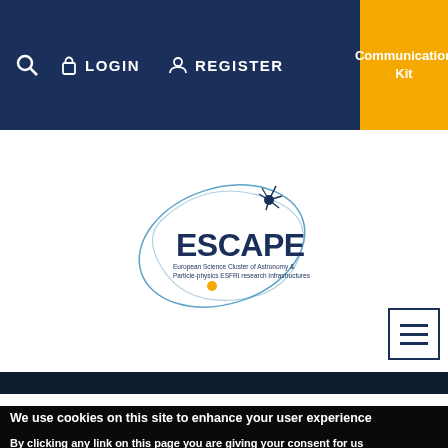LOGIN   REGISTER   Communication Kit
[Figure (logo): ESCAPE logo — European Science Cluster of Astronomy & Particle-physics ESFRI research Infrastructures, with orbital ellipse and star graphic]
[Figure (other): Hamburger menu icon button (three horizontal lines)]
We use cookies on this site to enhance your user experience
By clicking any link on this page you are giving your consent for us